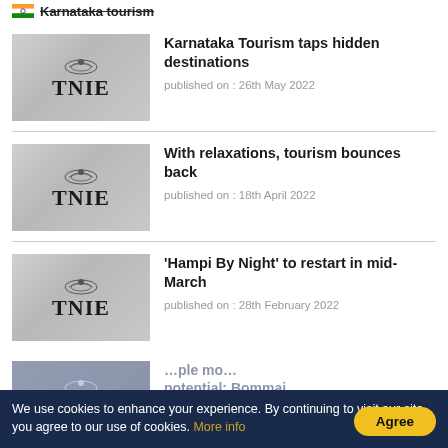Karnataka tourism
Karnataka Tourism taps hidden destinations
published on : 26th May 2022
With relaxations, tourism bounces back
published on : 18th April 2022
'Hampi By Night' to restart in mid-March
published on : 28th February 2022
We use cookies to enhance your experience. By continuing to visit our site you agree to our use of cookies. More info
Agree